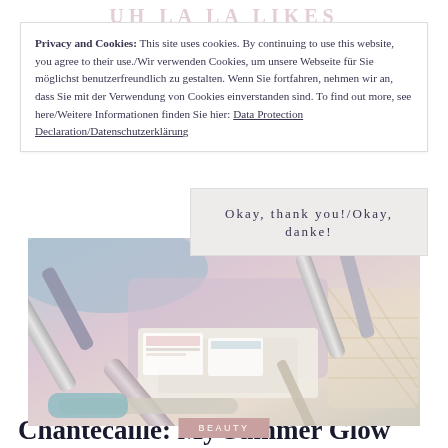UH LA LA LIKES
Privacy and Cookies: This site uses cookies. By continuing to use this website, you agree to their use./Wir verwenden Cookies, um unsere Webseite für Sie möglichst benutzerfreundlich zu gestalten. Wenn Sie fortfahren, nehmen wir an, dass Sie mit der Verwendung von Cookies einverstanden sind. To find out more, see here/Weitere Informationen finden Sie hier: Data Protection Declaration/Datenschutzerklärung
Okay, thank you!/Okay, danke!
[Figure (photo): Flatlay photo of beauty/cosmetic products including tubes and pencils arranged on pastel colored fabrics and a mesh bag]
BEAUTY
Chantecaille: My Summer Glow